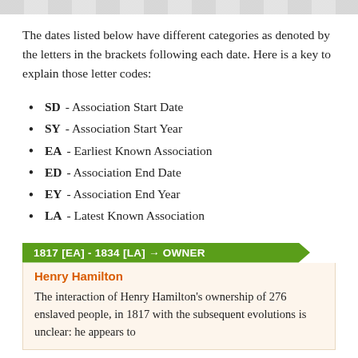The dates listed below have different categories as denoted by the letters in the brackets following each date. Here is a key to explain those letter codes:
SD - Association Start Date
SY - Association Start Year
EA - Earliest Known Association
ED - Association End Date
EY - Association End Year
LA - Latest Known Association
1817 [EA] - 1834 [LA] → OWNER
Henry Hamilton
The interaction of Henry Hamilton's ownership of 276 enslaved people, in 1817 with the subsequent evolutions is unclear: he appears to